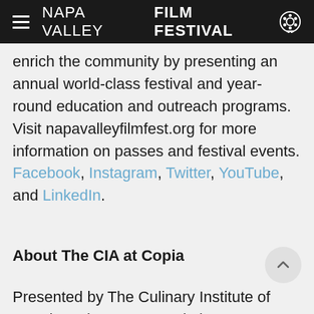NAPA VALLEY FILM FESTIVAL
enrich the community by presenting an annual world-class festival and year-round education and outreach programs. Visit napavalleyfilmfest.org for more information on passes and festival events. Facebook, Instagram, Twitter, YouTube, and LinkedIn.
About The CIA at Copia
Presented by The Culinary Institute of America, The CIA at Copia is a